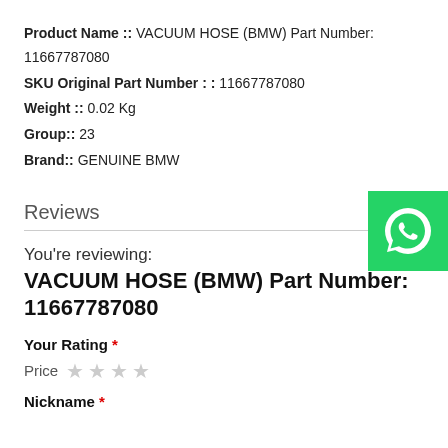Product Name ::  VACUUM HOSE (BMW) Part Number: 11667787080
SKU Original Part Number : :  11667787080
Weight ::  0.02 Kg
Group::  23
Brand::  GENUINE BMW
Reviews
[Figure (logo): WhatsApp button icon — green square with white phone/chat bubble logo]
You're reviewing:
VACUUM HOSE (BMW) Part Number: 11667787080
Your Rating *
Price  ★ ★ ★ ★
Nickname *